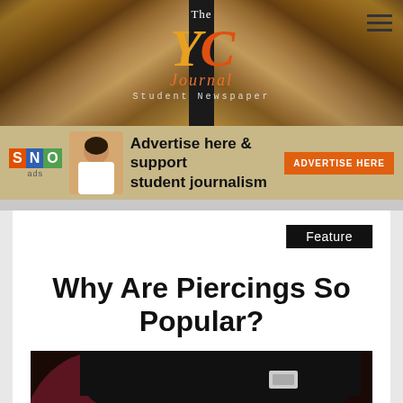The YC Journal — Student Newspaper
[Figure (photo): The YC Journal Student Newspaper banner header with crowd in gymnasium background and logo]
[Figure (infographic): SNO ads banner: Advertise here & support student journalism, with ADVERTISE HERE button]
Feature
Why Are Piercings So Popular?
[Figure (photo): Close-up selfie photo of a young person wearing a black beanie hat with piercings, dark lashes, and nose piercings, with dark reddish-brown hair]